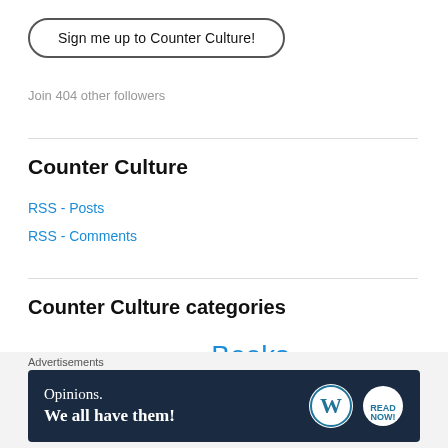Sign me up to Counter Culture!
Join 404 other followers
Counter Culture
RSS - Posts
RSS - Comments
Counter Culture categories
alternative rock  Art/Sculpture  Books  Comedy  Culture
Culture Vulture  Dance  Drama  EdFringe2018
Advertisements
Opinions. We all have them!